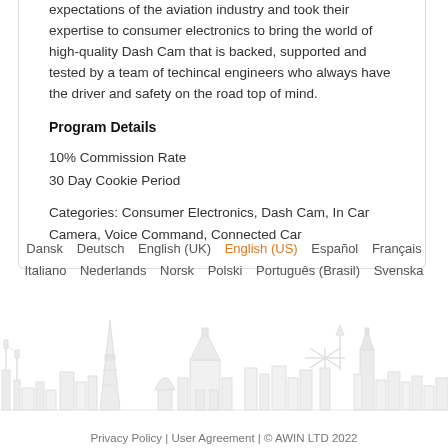expectations of the aviation industry and took their expertise to consumer electronics to bring the world of high-quality Dash Cam that is backed, supported and tested by a team of techincal engineers who always have the driver and safety on the road top of mind.
Program Details
10% Commission Rate
30 Day Cookie Period
Categories: Consumer Electronics, Dash Cam, In Car Camera, Voice Command, Connected Car
Dansk  Deutsch  English (UK)  English (US)  Español  Français  Italiano  Nederlands  Norsk  Polski  Português (Brasil)  Svenska
[Figure (illustration): City skyline silhouette illustration in light gray showing various European landmarks including the Eiffel Tower, Big Ben, and other architectural elements]
Privacy Policy | User Agreement | © AWIN LTD 2022